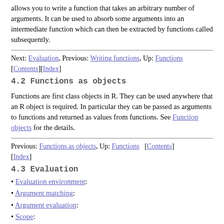allows you to write a function that takes an arbitrary number of arguments. It can be used to absorb some arguments into an intermediate function which can then be extracted by functions called subsequently.
Next: Evaluation, Previous: Writing functions, Up: Functions [Contents][Index]
4.2 Functions as objects
Functions are first class objects in R. They can be used anywhere that an R object is required. In particular they can be passed as arguments to functions and returned as values from functions. See Function objects for the details.
Previous: Functions as objects, Up: Functions   [Contents][Index]
4.3 Evaluation
• Evaluation environment:
• Argument matching:
• Argument evaluation:
• Scope: